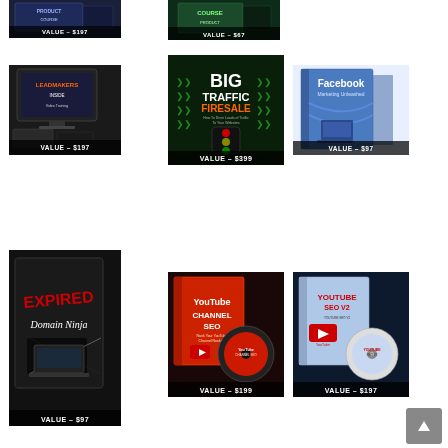[Figure (illustration): Product box with VALUE – $197 label]
[Figure (illustration): Product box with VALUE – $67 label]
[Figure (illustration): Leadmakers product set with VALUE – $197 label]
[Figure (illustration): Big Traffic Firesale book with VALUE – $399 label]
[Figure (illustration): Facebook Marketing Unleashed book with VALUE – $97 label]
[Figure (illustration): Expired Domain Ninja box with VALUE – $97 label]
[Figure (illustration): YouTube Channel SEO box and disc with VALUE – $199 label]
[Figure (illustration): YouTube SEO V2 box and disc with VALUE – $197 label]